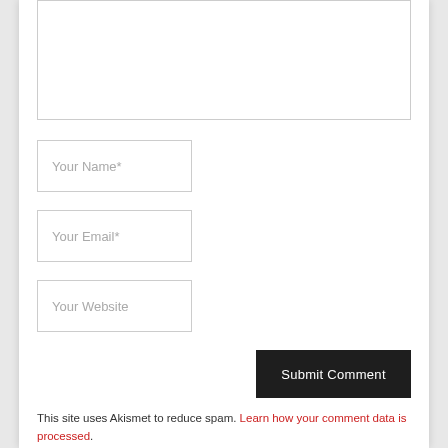[Figure (screenshot): Comment form text area (partially visible at top)]
Your Name*
Your Email*
Your Website
Submit Comment
This site uses Akismet to reduce spam. Learn how your comment data is processed.
How To Find Coupons: